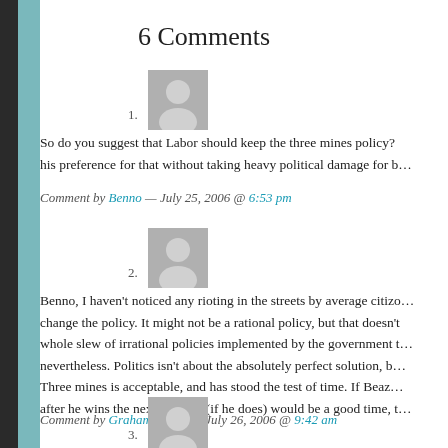6 Comments
So do you suggest that Labor should keep the three mines policy? his preference for that without taking heavy political damage for b...
Comment by Benno — July 25, 2006 @ 6:53 pm
Benno, I haven't noticed any rioting in the streets by average citiz... change the policy. It might not be a rational policy, but that doesn't... whole slew of irrational policies implemented by the government t... nevertheless. Politics isn't about the absolutely perfect solution, b... Three mines is acceptable, and has stood the test of time. If Beaz... after he wins the next election (if he does) would be a good time, t...
Comment by Graham Young — July 26, 2006 @ 9:42 am